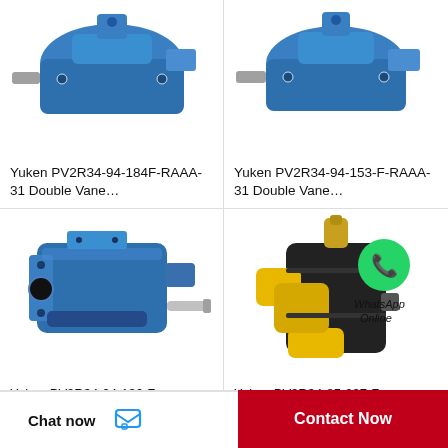[Figure (photo): Yuken PV2R34-94-184F-RAAA-31 Double Vane Pump - blue hydraulic pump, top portion visible]
Yuken PV2R34-94-184F-RAAA-31 Double Vane…
[Figure (photo): Yuken PV2R34-94-153-F-RAAA-31 Double Vane Pump - blue hydraulic pump, top portion visible]
Yuken PV2R34-94-153-F-RAAA-31 Double Vane…
[Figure (photo): Yuken PV2R34-94-136-F blue hydraulic double vane pump, full body view with shaft]
Yuken PV2R34-94-136-F-
[Figure (photo): Yuken PV2R34-85-237-F black hydraulic pump with yellow port covers and WhatsApp Online badge]
Yuken PV2R34-85-237-F-
Chat now
Contact Now